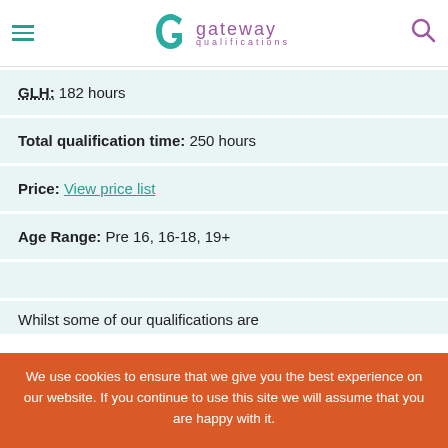Gateway Qualifications
GLH: 182 hours
Total qualification time: 250 hours
Price: View price list
Age Range: Pre 16, 16-18, 19+
Whilst some of our qualifications are
We use cookies to ensure that we give you the best experience on our website. If you continue to use this site we will assume that you are happy with it.